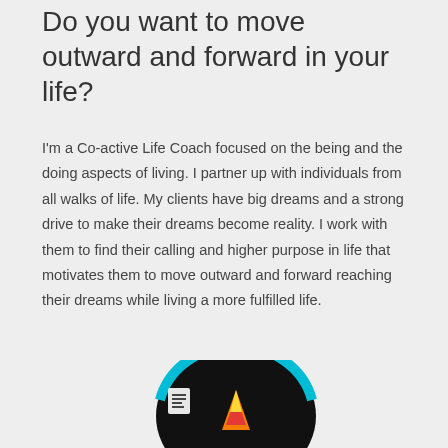Do you want to move outward and forward in your life?
I'm a Co-active Life Coach focused on the being and the doing aspects of living. I partner up with individuals from all walks of life. My clients have big dreams and a strong drive to make their dreams become reality. I work with them to find their calling and higher purpose in life that motivates them to move outward and forward reaching their dreams while living a more fulfilled life.
[Figure (logo): A circular logo with a teal/cyan arc on top and a dark background, featuring a small document icon in the upper left and a stylized mountain flame icon in orange, red, and yellow in the center.]